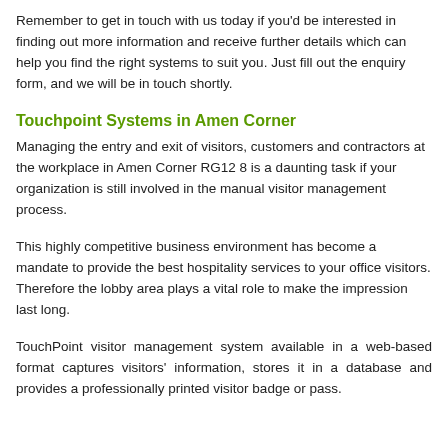the most efficient points in your company.
Remember to get in touch with us today if you'd be interested in finding out more information and receive further details which can help you find the right systems to suit you. Just fill out the enquiry form, and we will be in touch shortly.
Touchpoint Systems in Amen Corner
Managing the entry and exit of visitors, customers and contractors at the workplace in Amen Corner RG12 8 is a daunting task if your organization is still involved in the manual visitor management process.
This highly competitive business environment has become a mandate to provide the best hospitality services to your office visitors. Therefore the lobby area plays a vital role to make the impression last long.
TouchPoint visitor management system available in a web-based format captures visitors' information, stores it in a database and provides a professionally printed visitor badge or pass.